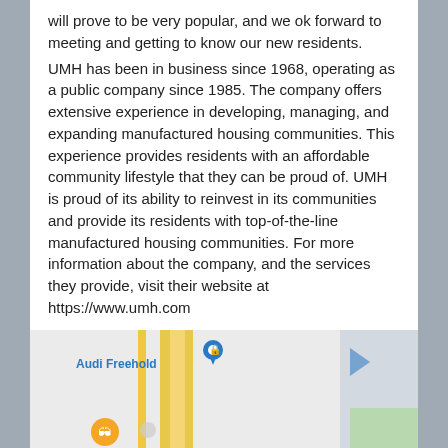will prove to be very popular, and we look forward to meeting and getting to know our new residents.

UMH has been in business since 1968, operating as a public company since 1985. The company offers extensive experience in developing, managing, and expanding manufactured housing communities. This experience provides residents with an affordable community lifestyle that they can be proud of. UMH is proud of its ability to reinvest in its communities and provide its residents with top-of-the-line manufactured housing communities. For more information about the company, and the services they provide, visit their website at https://www.umh.com
[Figure (map): A Google Maps screenshot showing the area near Audi Freehold, with yellow roads, a blue location pin marker, an orange restaurant/place icon, and partial street map view.]